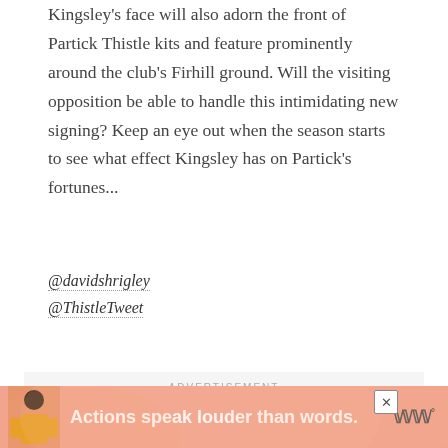Kingsley's face will also adorn the front of Partick Thistle kits and feature prominently around the club's Firhill ground. Will the visiting opposition be able to handle this intimidating new signing? Keep an eye out when the season starts to see what effect Kingsley has on Partick's fortunes...
@davidshrigley
@ThistleTweet
[Figure (other): Advertisement placeholder box with 'ADVERTISEMENT' label in light gray letterspacing text on a light gray background]
[Figure (infographic): Advertisement banner with pink/coral background, a figure of a person in yellow shirt, bold white text 'Actions speak louder than words.' and a logo on the right, with a close button (X)]